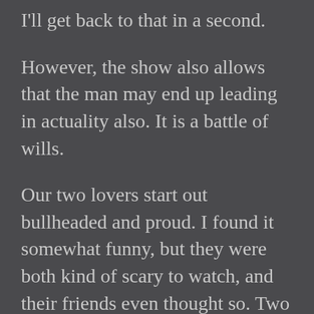I'll get back to that in a second.
However, the show also allows that the man may end up leading in actuality also. It is a battle of wills.
Our two lovers start out bullheaded and proud. I found it somewhat funny, but they were both kind of scary to watch, and their friends even thought so. Two highly intelligent, prideful people, duking it out over love is easily a